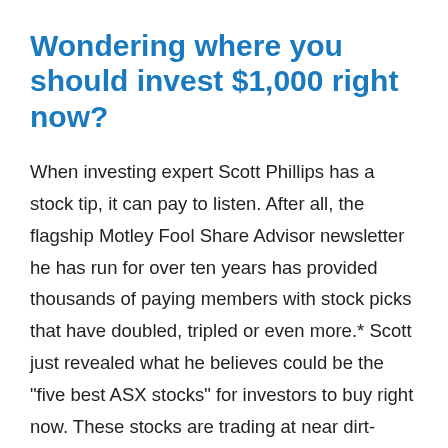Wondering where you should invest $1,000 right now?
When investing expert Scott Phillips has a stock tip, it can pay to listen. After all, the flagship Motley Fool Share Advisor newsletter he has run for over ten years has provided thousands of paying members with stock picks that have doubled, tripled or even more.* Scott just revealed what he believes could be the "five best ASX stocks" for investors to buy right now. These stocks are trading at near dirt-cheap prices and Scott thinks they could be great buys right now